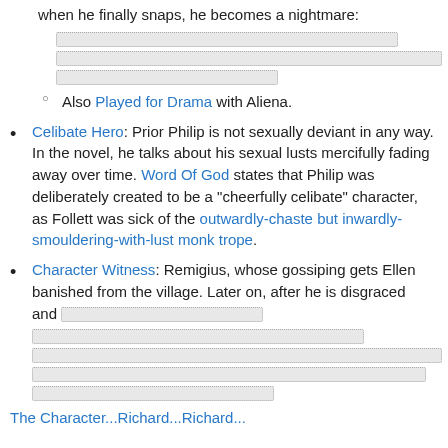when he finally snaps, he becomes a nightmare:
[Figure (other): Three redacted/blurred content blocks with dotted borders]
Also Played for Drama with Aliena.
Celibate Hero: Prior Philip is not sexually deviant in any way. In the novel, he talks about his sexual lusts mercifully fading away over time. Word Of God states that Philip was deliberately created to be a "cheerfully celibate" character, as Follett was sick of the outwardly-chaste but inwardly-smouldering-with-lust monk trope.
Character Witness: Remigius, whose gossiping gets Ellen banished from the village. Later on, after he is disgraced and [redacted content]
The Character...Richard...Richard...